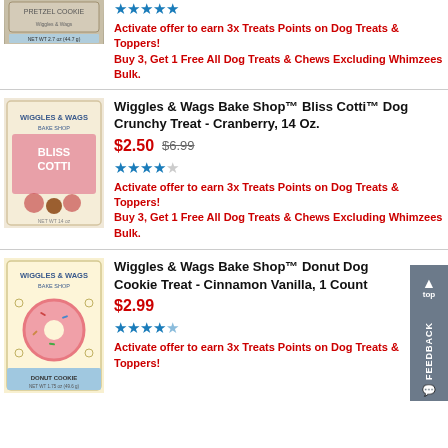[Figure (photo): Partial product image - Pretzel Cookie dog treat package (top portion visible)]
★★★★★ (5 stars)
Activate offer to earn 3x Treats Points on Dog Treats & Toppers! Buy 3, Get 1 Free All Dog Treats & Chews Excluding Whimzees Bulk.
[Figure (photo): Wiggles & Wags Bake Shop Bliss Cotti dog treat package - Cranberry flavor, cream/pink packaging]
Wiggles & Wags Bake Shop™ Bliss Cotti™ Dog Crunchy Treat - Cranberry, 14 Oz.
$2.50  $6.99
★★★★☆ (4 stars)
Activate offer to earn 3x Treats Points on Dog Treats & Toppers! Buy 3, Get 1 Free All Dog Treats & Chews Excluding Whimzees Bulk.
[Figure (photo): Wiggles & Wags Bake Shop Donut Dog Cookie Treat package - Cinnamon Vanilla flavor, light yellow packaging with donut graphic]
Wiggles & Wags Bake Shop™ Donut Dog Cookie Treat - Cinnamon Vanilla, 1 Count
$2.99
★★★★½ (4.5 stars)
Activate offer to earn 3x Treats Points on Dog Treats & Toppers!